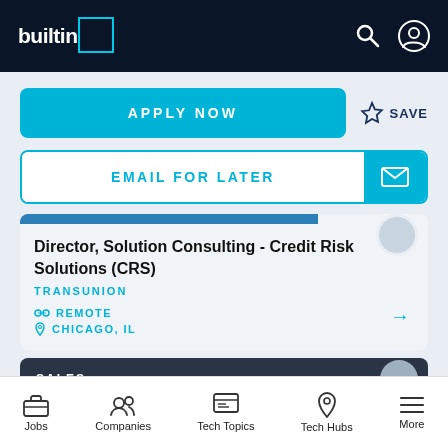builtin
APPLY NOW
SAVE
EMAIL FOR LATER
Director, Solution Consulting - Credit Risk Solutions (CRS)
TRANSUNION
REMOTE
CHICAGO, IL
SALES
Jobs   Companies   Tech Topics   Tech Hubs   More